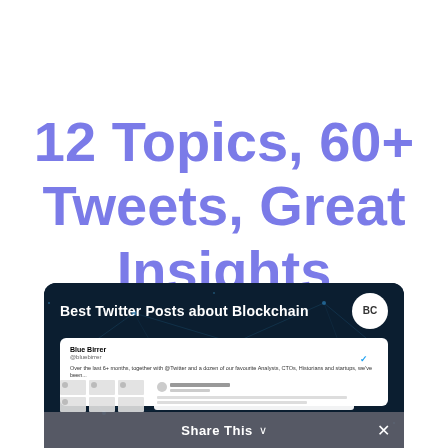12 Topics, 60+ Tweets, Great Insights
[Figure (screenshot): Preview card showing 'Best Twitter Posts about Blockchain' with a BC badge logo, a sample tweet, a mosaic grid of tweet previews, and a 'Share This' toolbar at the bottom on a dark blue network/blockchain background.]